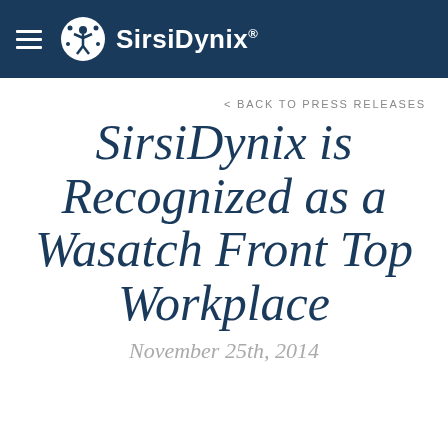SirsiDynix
< BACK TO PRESS RELEASES
SirsiDynix is Recognized as a Wasatch Front Top Workplace
November 25th, 2014